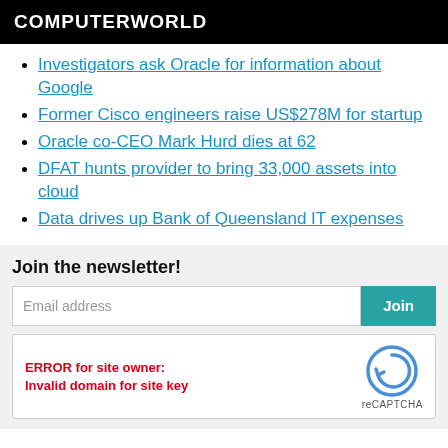COMPUTERWORLD
Investigators ask Oracle for information about Google
Former Cisco engineers raise US$278M for startup
Oracle co-CEO Mark Hurd dies at 62
DFAT hunts provider to bring 33,000 assets into cloud
Data drives up Bank of Queensland IT expenses
Join the newsletter!
Email address
Join
ERROR for site owner: Invalid domain for site key
reCAPTCHA